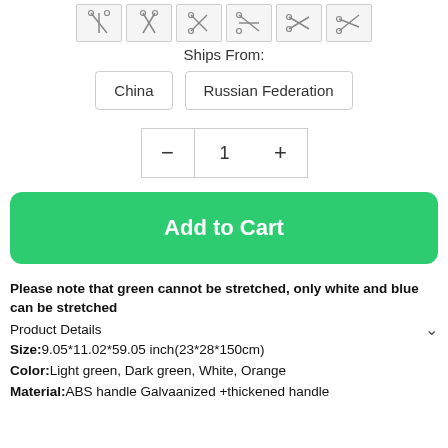[Figure (other): Row of product thumbnail images with scissors/tool icons]
Ships From:
China   Russian Federation
- 1 +
Add to Cart
Please note that green cannot be stretched, only white and blue can be stretched
Product Details
Size:9.05*11.02*59.05 inch(23*28*150cm)
Color:Light green, Dark green, White, Orange
Material:ABS handle Galvaanized +thickened handle